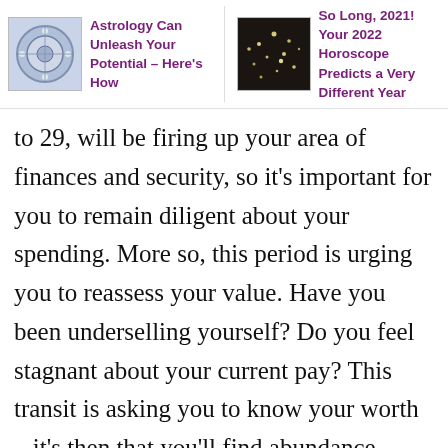[Figure (other): Thumbnail image of astrology chart with blue circular symbol]
Astrology Can Unleash Your Potential – Here's How
[Figure (photo): Thumbnail photo of lights/sparkles on dark background]
So Long, 2021! Your 2022 Horoscope Predicts a Very Different Year
to 29, will be firing up your area of finances and security, so it's important for you to remain diligent about your spending. More so, this period is urging you to reassess your value. Have you been underselling yourself? Do you feel stagnant about your current pay? This transit is asking you to know your worth – it's then that you'll find abundance waiting for you.
With Jupiter in Pisces from May to October 2022, your house of roots and home will be highlighted. This period is about home-life